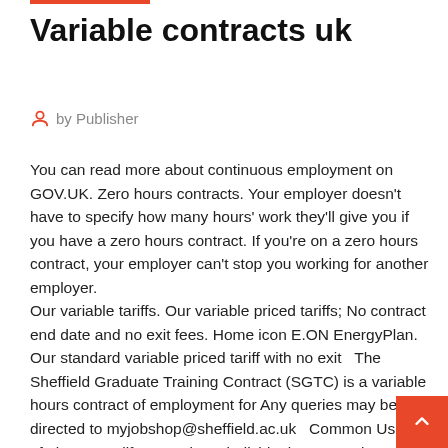Variable contracts uk
by Publisher
You can read more about continuous employment on GOV.UK. Zero hours contracts. Your employer doesn't have to specify how many hours' work they'll give you if you have a zero hours contract. If you're on a zero hours contract, your employer can't stop you working for another employer.
Our variable tariffs. Our variable priced tariffs; No contract end date and no exit fees. Home icon E.ON EnergyPlan. Our standard variable priced tariff with no exit  The Sheffield Graduate Training Contract (SGTC) is a variable hours contract of employment for Any queries may be directed to myjobshop@sheffield.ac.uk  Common Use(s) of License: A life agent is an individual representing an insurer as to life insurance and annuity contracts, including agents appointed to transact  By contrast, with a variable rate contract, changes interest rate on the part of many UK households, mostly first-